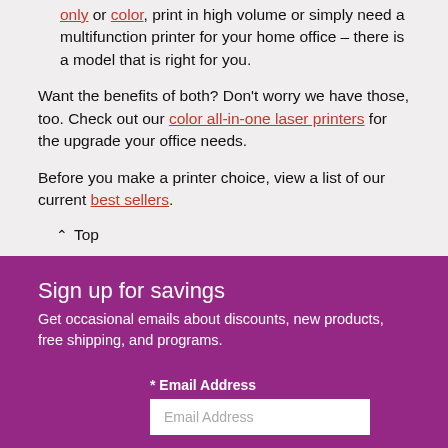only or color, print in high volume or simply need a multifunction printer for your home office – there is a model that is right for you.
Want the benefits of both? Don't worry we have those, too. Check out our color all-in-one laser printers for the upgrade your office needs.
Before you make a printer choice, view a list of our current best sellers.
^ Top
Sign up for savings
Get occasional emails about discounts, new products, free shipping, and programs.
* Email Address
Email Address